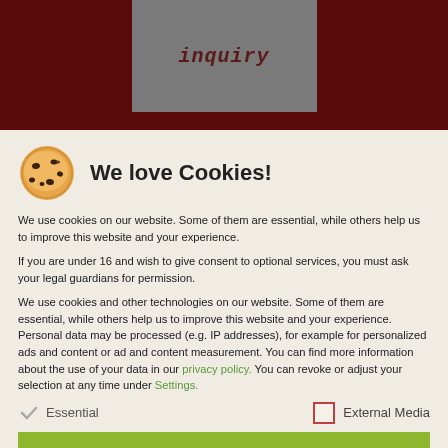inquiry
We love Cookies!
We use cookies on our website. Some of them are essential, while others help us to improve this website and your experience.
If you are under 16 and wish to give consent to optional services, you must ask your legal guardians for permission.
We use cookies and other technologies on our website. Some of them are essential, while others help us to improve this website and your experience. Personal data may be processed (e.g. IP addresses), for example for personalized ads and content or ad and content measurement. You can find more information about the use of your data in our privacy policy. You can revoke or adjust your selection at any time under Settings.
Essential
External Media
Accept all